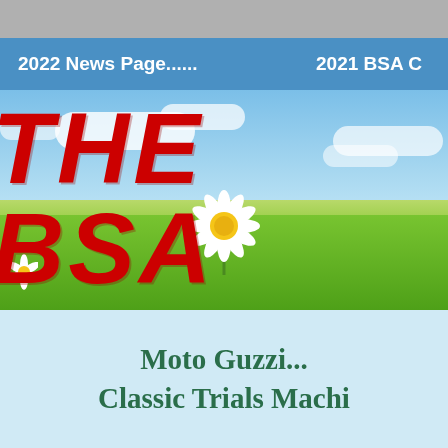2022 News Page......    2021 BSA C
[Figure (illustration): Outdoor scene with blue sky, white clouds, green grass field, and a large white daisy flower in the center foreground. Red hand-drawn style text 'THE BSA' overlaid on the sky portion of the image.]
Moto Guzzi...
Classic Trials Machi